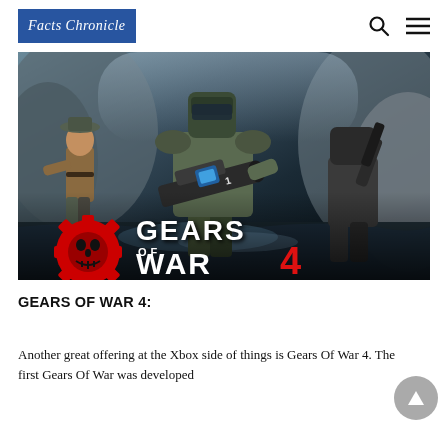Facts Chronicle
[Figure (photo): Gears of War 4 promotional cover art showing armored soldiers with weapons, with the Gears of War 4 logo featuring a red gear with skull emblem in the lower left.]
GEARS OF WAR 4:
Another great offering at the Xbox side of things is Gears Of War 4. The first Gears Of War was developed